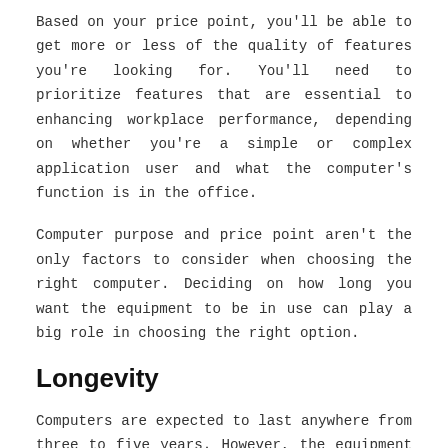Based on your price point, you'll be able to get more or less of the quality of features you're looking for. You'll need to prioritize features that are essential to enhancing workplace performance, depending on whether you're a simple or complex application user and what the computer's function is in the office.
Computer purpose and price point aren't the only factors to consider when choosing the right computer. Deciding on how long you want the equipment to be in use can play a big role in choosing the right option.
Longevity
Computers are expected to last anywhere from three to five years. However, the equipment warranty period is the true determinant of how long you can